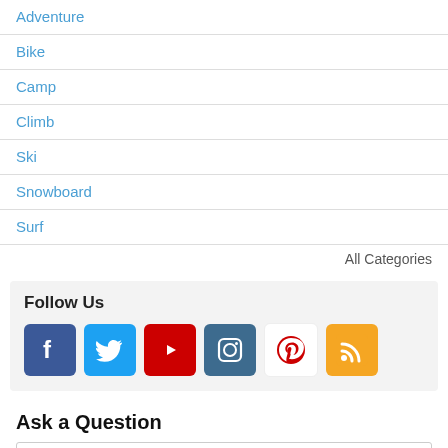Adventure
Bike
Camp
Climb
Ski
Snowboard
Surf
All Categories
[Figure (infographic): Follow Us section with social media icons: Facebook, Twitter, YouTube, Instagram, Pinterest, RSS]
Ask a Question
ask any question about...